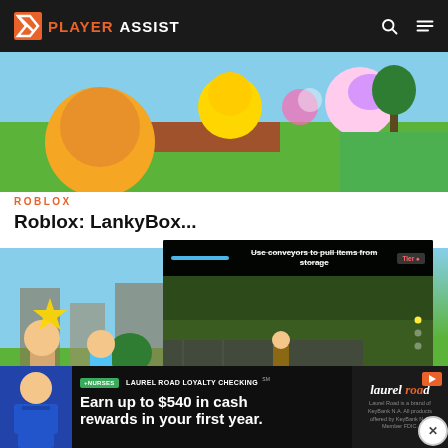PLAYERASSIST
[Figure (screenshot): Roblox game screenshot showing colorful game scene with orange, yellow, and green elements]
ROBLOX
Roblox: LankyBox...
[Figure (screenshot): Roblox game screenshot thumbnail on left side]
[Figure (screenshot): Popup overlay showing Roblox game with text 'Use conveyors to pull items from storage', a Tier indicator, arrow navigation button, and game view]
[Figure (advertisement): Laurel Road bank advertisement: '+NURSES LAUREL ROAD LOYALTY CHECKING - Earn up to $540 in cash rewards in your first year.' with person on left and Laurel Road logo on right]